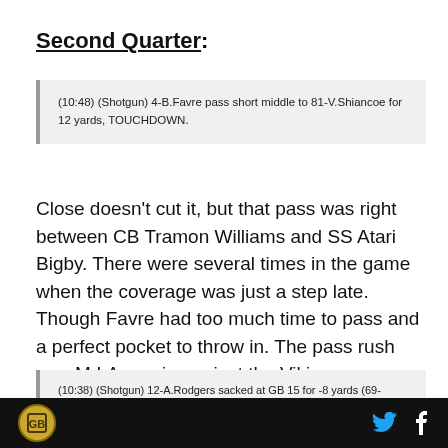Second Quarter:
(10:48) (Shotgun) 4-B.Favre pass short middle to 81-V.Shiancoe for 12 yards, TOUCHDOWN.
Close doesn't cut it, but that pass was right between CB Tramon Williams and SS Atari Bigby. There were several times in the game when the coverage was just a step late. Though Favre had too much time to pass and a perfect pocket to throw in. The pass rush was M.I.A. again against the Vikings.
(10:38) (Shotgun) 12-A.Rodgers sacked at GB 15 for -8 yards (69-J.Allen).
Logo and social icons